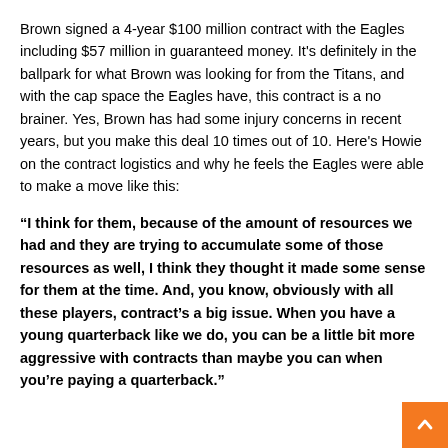Brown signed a 4-year $100 million contract with the Eagles including $57 million in guaranteed money. It's definitely in the ballpark for what Brown was looking for from the Titans, and with the cap space the Eagles have, this contract is a no brainer. Yes, Brown has had some injury concerns in recent years, but you make this deal 10 times out of 10. Here's Howie on the contract logistics and why he feels the Eagles were able to make a move like this:
“I think for them, because of the amount of resources we had and they are trying to accumulate some of those resources as well, I think they thought it made some sense for them at the time. And, you know, obviously with all these players, contract’s a big issue. When you have a young quarterback like we do, you can be a little bit more aggressive with contracts than maybe you can when you’re paying a quarterback.”